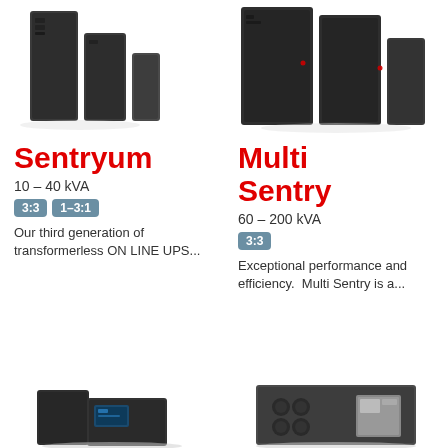[Figure (photo): Sentryum UPS units - three dark tower/rack style UPS devices]
Sentryum
10 – 40 kVA
3:3   1–3:1
Our third generation of transformerless ON LINE UPS...
[Figure (photo): Multi Sentry UPS units - large dark rack/cabinet style UPS devices]
Multi Sentry
60 – 200 kVA
3:3
Exceptional performance and efficiency.  Multi Sentry is a...
[Figure (photo): Bottom left UPS product - compact dark tower UPS with blue display]
[Figure (photo): Bottom right UPS product - rack mounted UPS unit with display panel]